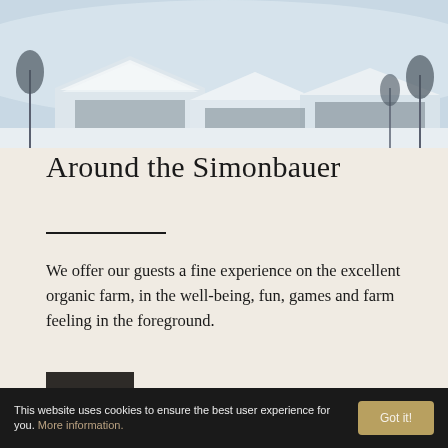[Figure (photo): Aerial view of snow-covered farm buildings and trees in a winter landscape]
Around the Simonbauer
We offer our guests a fine experience on the excellent organic farm, in the well-being, fun, games and farm feeling in the foreground.
This website uses cookies to ensure the best user experience for you. More information.